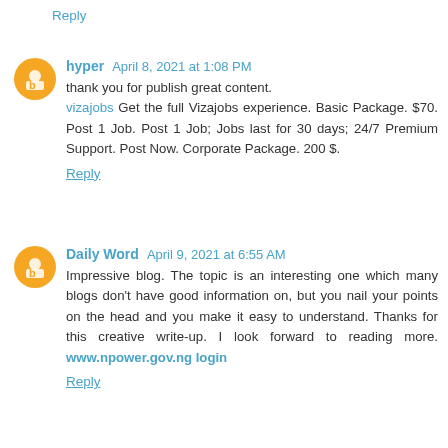Reply
hyper April 8, 2021 at 1:08 PM
thank you for publish great content. vizajobs Get the full Vizajobs experience. Basic Package. $70. Post 1 Job. Post 1 Job; Jobs last for 30 days; 24/7 Premium Support. Post Now. Corporate Package. 200 $.
Reply
Daily Word April 9, 2021 at 6:55 AM
Impressive blog. The topic is an interesting one which many blogs don't have good information on, but you nail your points on the head and you make it easy to understand. Thanks for this creative write-up. I look forward to reading more. www.npower.gov.ng login
Reply